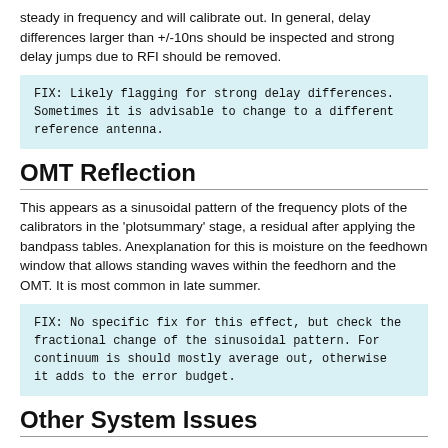steady in frequency and will calibrate out. In general, delay differences larger than +/-10ns should be inspected and strong delay jumps due to RFI should be removed.
FIX: Likely flagging for strong delay differences. Sometimes it is advisable to change to a different reference antenna.
OMT Reflection
This appears as a sinusoidal pattern of the frequency plots of the calibrators in the 'plotsummary' stage, a residual after applying the bandpass tables. Anexplanation for this is moisture on the feedhown window that allows standing waves within the feedhorn and the OMT. It is most common in late summer.
FIX: No specific fix for this effect, but check the fractional change of the sinusoidal pattern. For continuum is should mostly average out, otherwise it adds to the error budget.
Other System Issues